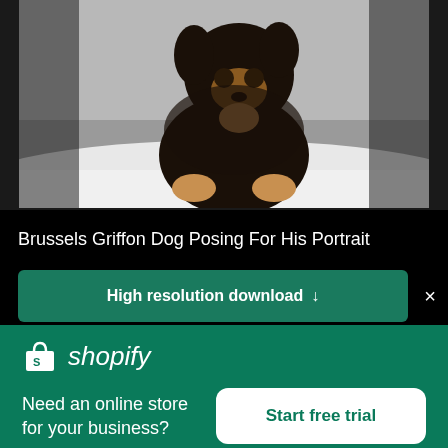[Figure (photo): A Brussels Griffon dog posing for a portrait, sitting on a white surface against a grey background. The dog is black and tan colored, looking upward.]
Brussels Griffon Dog Posing For His Portrait
High resolution download ↓
[Figure (logo): Shopify logo with shopping bag icon and italic 'shopify' text in white on green background]
Need an online store for your business?
Start free trial